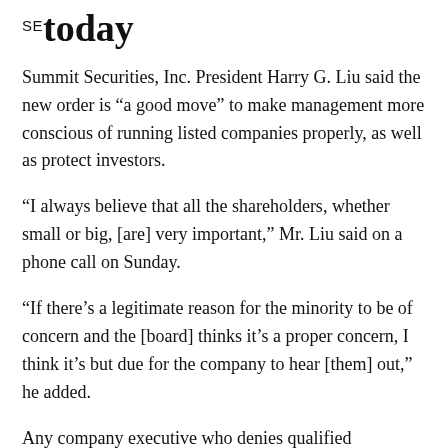SE TODAY
Summit Securities, Inc. President Harry G. Liu said the new order is “a good move” to make management more conscious of running listed companies properly, as well as protect investors.
“I always believe that all the shareholders, whether small or big, [are] very important,” Mr. Liu said on a phone call on Sunday.
“If there’s a legitimate reason for the minority to be of concern and the [board] thinks it’s a proper concern, I think it’s but due for the company to hear [them] out,” he added.
Any company executive who denies qualified shareholders their right to call for a meeting may face fines, a permanent cease and desist order,